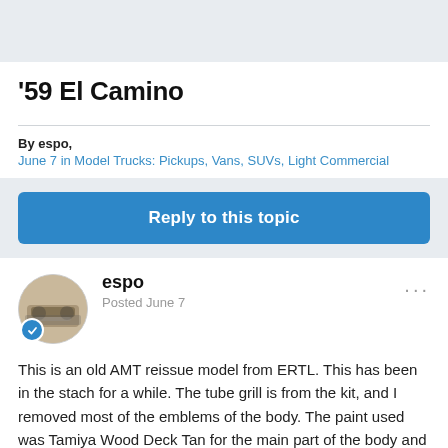'59 El Camino
By espo,
June 7 in Model Trucks: Pickups, Vans, SUVs, Light Commercial
Reply to this topic
espo
Posted June 7
This is an old AMT reissue model from ERTL. This has been in the stach for a while. The tube grill is from the kit, and I removed most of the emblems of the body. The paint used was Tamiya Wood Deck Tan for the main part of the body and some old Testers Gold for the roof and tops of the fins. Used a